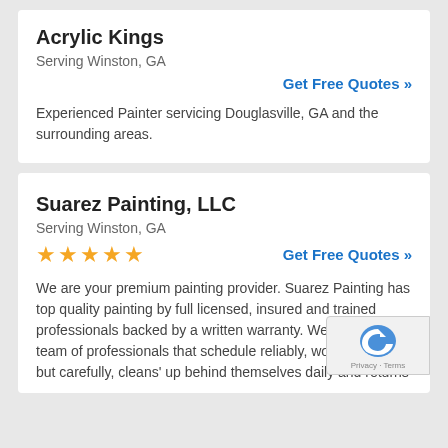Acrylic Kings
Serving Winston, GA
Get Free Quotes »
Experienced Painter servicing Douglasville, GA and the surrounding areas.
Suarez Painting, LLC
Serving Winston, GA
★★★★★
Get Free Quotes »
We are your premium painting provider. Suarez Painting has top quality painting by full licensed, insured and trained professionals backed by a written warranty. We provide a team of professionals that schedule reliably, works quickly but carefully, cleans' up behind themselves daily and returns